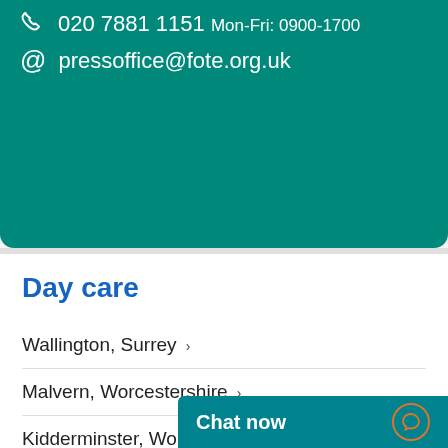020 7881 1151 Mon-Fri: 0900-1700
pressoffice@fote.org.uk
Day care
Wallington, Surrey
Malvern, Worcestershire
Kidderminster, Worcestershire
Woking, Surrey
Chat now